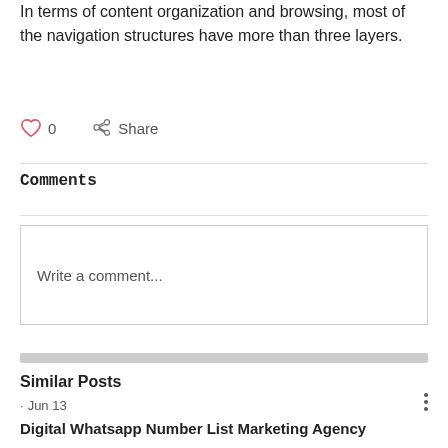In terms of content organization and browsing, most of the navigation structures have more than three layers.
0  Share
Comments
Write a comment...
Similar Posts
· Jun 13
Digital Whatsapp Number List Marketing Agency
0  0  posted Jun 13 >